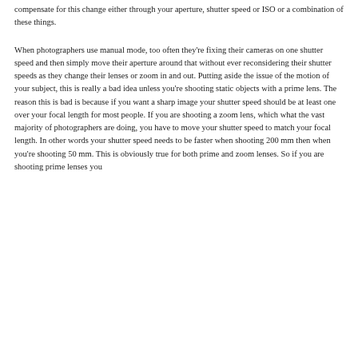compensate for this change either through your aperture, shutter speed or ISO or a combination of these things.
When photographers use manual mode, too often they're fixing their cameras on one shutter speed and then simply move their aperture around that without ever reconsidering their shutter speeds as they change their lenses or zoom in and out. Putting aside the issue of the motion of your subject, this is really a bad idea unless you're shooting static objects with a prime lens. The reason this is bad is because if you want a sharp image your shutter speed should be at least one over your focal length for most people. If you are shooting a zoom lens, which what the vast majority of photographers are doing, you have to move your shutter speed to match your focal length. In other words your shutter speed needs to be faster when shooting 200 mm then when you're shooting 50 mm. This is obviously true for both prime and zoom lenses. So if you are shooting prime lenses you